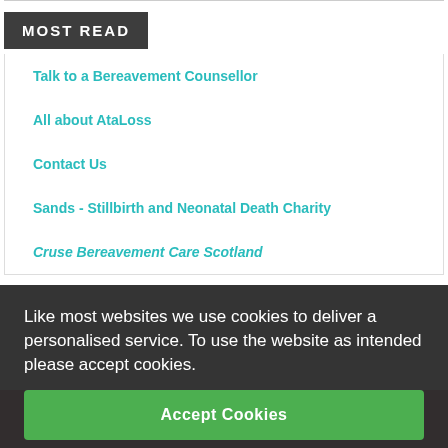MOST READ
Talk to a Bereavement Counsellor
All about AtaLoss
Contact Us
Sands - Stillbirth and Neonatal Death Charity
Cruse Bereavement Care Scotland
Like most websites we use cookies to deliver a personalised service. To use the website as intended please accept cookies.
Accept Cookies
Tell us